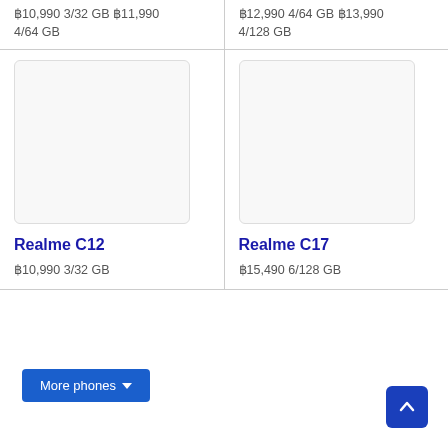฿10,990 3/32 GB ฿11,990 4/64 GB
฿12,990 4/64 GB ฿13,990 4/128 GB
[Figure (photo): Realme C12 phone image placeholder]
Realme C12
฿10,990 3/32 GB
[Figure (photo): Realme C17 phone image placeholder]
Realme C17
฿15,490 6/128 GB
More phones